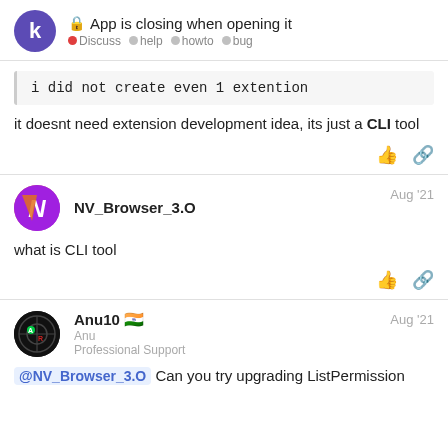App is closing when opening it — Discuss • help • howto • bug
i did not create even 1 extention
it doesnt need extension development idea, its just a CLI tool
NV_Browser_3.O — Aug '21
what is CLI tool
Anu10 🇮🇳 — Anu — Professional Support — Aug '21
@NV_Browser_3.O Can you try upgrading ListPermission